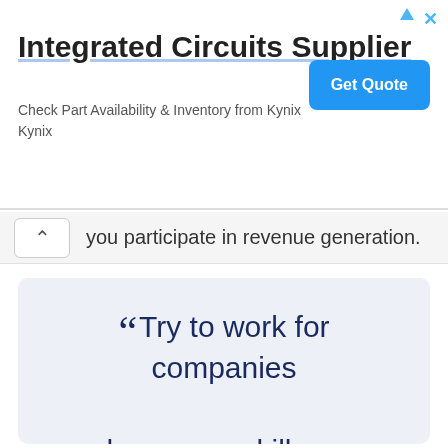[Figure (other): Advertisement banner for Integrated Circuits Supplier - Kynix. Title: 'Integrated Circuits Supplier'. Subtitle: 'Check Part Availability & Inventory from Kynix Kynix'. Button: 'Get Quote'.]
you participate in revenue generation.
“Try to work for companies where your skills can generate revenue. We can’t all generate revenue and that’s perfectly fine”